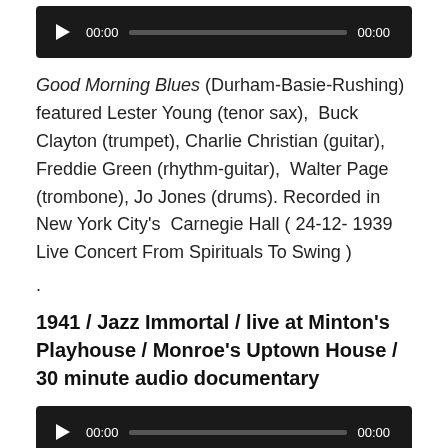[Figure (screenshot): Audio player with play button, time 00:00, progress bar, and end time 00:00 on dark background]
Good Morning Blues (Durham-Basie-Rushing) featured Lester Young (tenor sax),  Buck Clayton (trumpet), Charlie Christian (guitar), Freddie Green (rhythm-guitar),  Walter Page (trombone), Jo Jones (drums). Recorded in New York City's  Carnegie Hall ( 24-12- 1939 Live Concert From Spirituals To Swing )
.
1941 / Jazz Immortal / live at Minton's Playhouse / Monroe's Uptown House / 30 minute audio documentary
[Figure (screenshot): Audio player with play button, time 00:00, progress bar, and end time 00:00 on dark background]